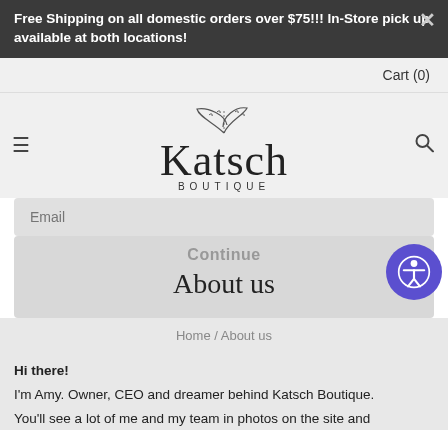Free Shipping on all domestic orders over $75!!! In-Store pick up available at both locations!
Cart (0)
[Figure (logo): Katsch Boutique logo with leaf/branch illustration above script text 'Katsch' and 'BOUTIQUE' in small caps below]
Email
Continue
About us
Home / About us
Hi there!
I'm Amy. Owner, CEO and dreamer behind Katsch Boutique.
You'll see a lot of me and my team in photos on the site and